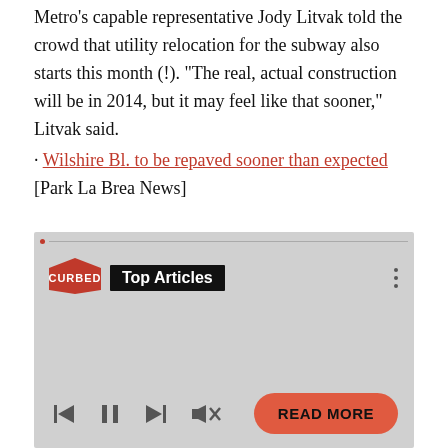Metro's capable representative Jody Litvak told the crowd that utility relocation for the subway also starts this month (!). "The real, actual construction will be in 2014, but it may feel like that sooner," Litvak said.
· Wilshire Bl. to be repaved sooner than expected [Park La Brea News]
[Figure (screenshot): Embedded media player widget showing Curbed logo, 'Top Articles' badge, playback controls (skip back, pause, skip forward, mute), a red progress dot on a thin progress bar, three-dots menu, and a red 'READ MORE' button at bottom right. Background is light grey.]